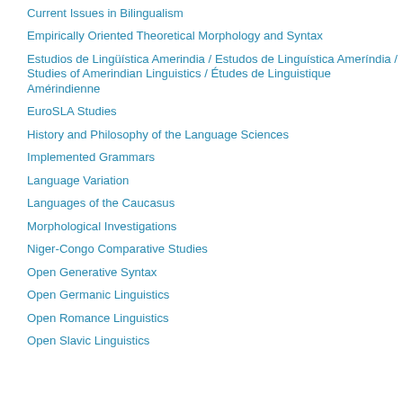Current Issues in Bilingualism
Empirically Oriented Theoretical Morphology and Syntax
Estudios de Lingüística Amerindia / Estudos de Linguística Ameríndia / Studies of Amerindian Linguistics / Études de Linguistique Amérindienne
EuroSLA Studies
History and Philosophy of the Language Sciences
Implemented Grammars
Language Variation
Languages of the Caucasus
Morphological Investigations
Niger-Congo Comparative Studies
Open Generative Syntax
Open Germanic Linguistics
Open Romance Linguistics
Open Slavic Linguistics